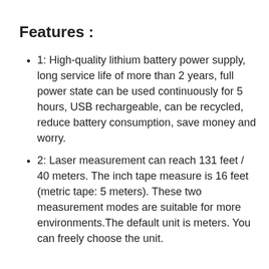Features :
1: High-quality lithium battery power supply, long service life of more than 2 years, full power state can be used continuously for 5 hours, USB rechargeable, can be recycled, reduce battery consumption, save money and worry.
2: Laser measurement can reach 131 feet / 40 meters. The inch tape measure is 16 feet (metric tape: 5 meters). These two measurement modes are suitable for more environments.The default unit is meters. You can freely choose the unit.